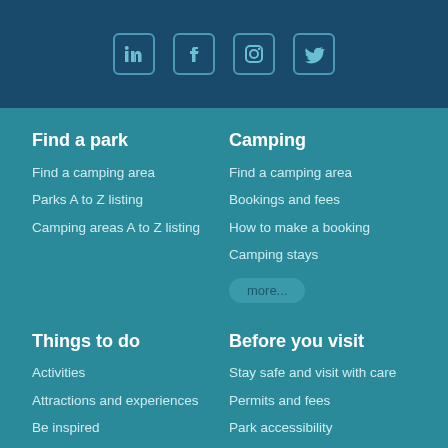[Figure (other): Social media icons: LinkedIn, Facebook, Instagram, Twitter in outlined square boxes on dark blue background]
Find a park
Find a camping area
Parks A to Z listing
Camping areas A to Z listing
Camping
Find a camping area
Bookings and fees
How to make a booking
Camping stays
more...
Things to do
Activities
Attractions and experiences
Be inspired
Before you visit
Stay safe and visit with care
Permits and fees
Park accessibility